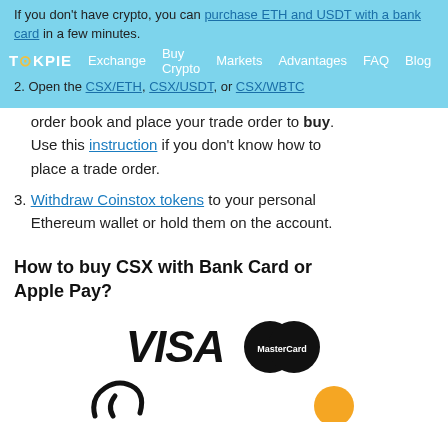If you don't have crypto, you can purchase ETH and USDT with a bank card in a few minutes. | TOKPIE | Exchange  Buy Crypto  Markets  Advantages  FAQ  Blog | Open the CSX/ETH, CSX/USDT, or CSX/WBTC
2. Open the CSX/ETH, CSX/USDT, or CSX/WBTC order book and place your trade order to buy. Use this instruction if you don't know how to place a trade order.
3. Withdraw Coinstox tokens to your personal Ethereum wallet or hold them on the account.
How to buy CSX with Bank Card or Apple Pay?
[Figure (logo): Payment method logos: VISA, MasterCard, and partial logos of other payment providers at the bottom]